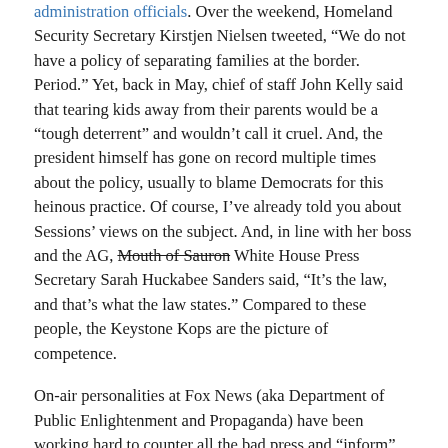administration officials. Over the weekend, Homeland Security Secretary Kirstjen Nielsen tweeted, “We do not have a policy of separating families at the border. Period.” Yet, back in May, chief of staff John Kelly said that tearing kids away from their parents would be a “tough deterrent” and wouldn’t call it cruel. And, the president himself has gone on record multiple times about the policy, usually to blame Democrats for this heinous practice. Of course, I’ve already told you about Sessions’ views on the subject. And, in line with her boss and the AG, [strikethrough: Mouth of Sauron] White House Press Secretary Sarah Huckabee Sanders said, “It’s the law, and that’s what the law states.” Compared to these people, the Keystone Kops are the picture of competence.
On-air personalities at Fox News (aka Department of Public Enlightenment and Propaganda) have been working hard to counter all the bad press and “inform” us about the “reality” of the situation. Tucker Carlson claims that public outrage over the policy has been ginned up by “the ruling elite” to accelerate “the collapse of the American family”. Co-host of Fox and Friends and ventriloquist-dummy-come-to-life Steve Doocy said that we’re not seeing concentration camps with cages for children, but “great, big warehouse facility where they built walls out of chain link fences.” And, last but certainly not least, Laura Ingraham told us that these detention centers “are essentially summer camps”. While the